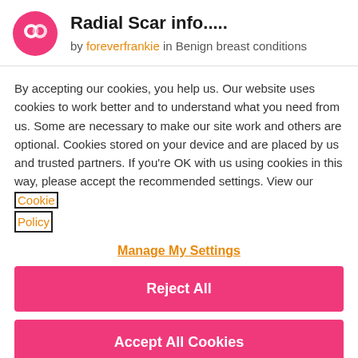Radial Scar info.....
by foreverfrankie in Benign breast conditions
By accepting our cookies, you help us. Our website uses cookies to work better and to understand what you need from us. Some are necessary to make our site work and others are optional. Cookies stored on your device and are placed by us and trusted partners. If you're OK with us using cookies in this way, please accept the recommended settings. View our Cookie Policy
Manage My Settings
Reject All
Accept All Cookies